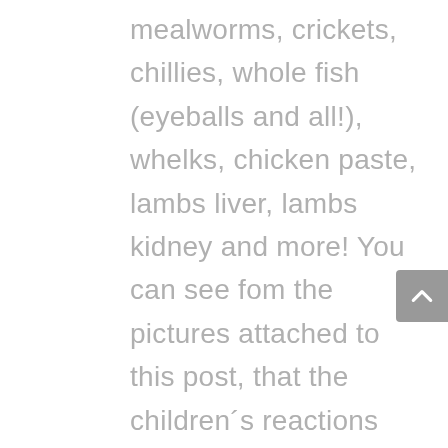mealworms, crickets, chillies, whole fish (eyeballs and all!), whelks, chicken paste, lambs liver, lambs kidney and more! You can see fom the pictures attached to this post, that the children's reactions were priceless. They deserve a huge amount of credit though, they gave most foods a good go, even the rollmop herring which was enormous! On final count, the blue and green team had pulled back quite a few stars, but it wasn't enough to take the victory – the yellows and reds were victorious and were crowned kings and queens of the school!